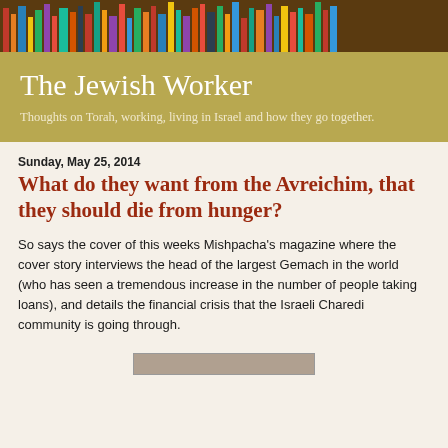[Figure (photo): Bookshelf header image with colorful book spines on wooden shelves]
The Jewish Worker
Thoughts on Torah, working, living in Israel and how they go together.
Sunday, May 25, 2014
What do they want from the Avreichim, that they should die from hunger?
So says the cover of this weeks Mishpacha's magazine where the cover story interviews the head of the largest Gemach in the world (who has seen a tremendous increase in the number of people taking loans), and details the financial crisis that the Israeli Charedi community is going through.
[Figure (photo): Partial image preview at bottom of page]